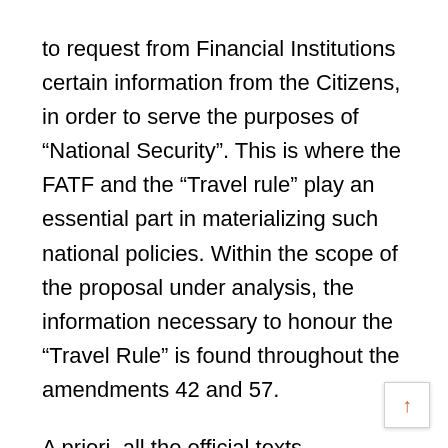to request from Financial Institutions certain information from the Citizens, in order to serve the purposes of “National Security”. This is where the FATF and the “Travel rule” play an essential part in materializing such national policies. Within the scope of the proposal under analysis, the information necessary to honour the “Travel Rule” is found throughout the amendments 42 and 57.
A priori, all the official texts mentioned above are centred around Terrorism and Money Laundry. That’s the legal basis to bring forward this proposal, as it is clearly written all around the documents. Regardless of whether the DATA is gathered from a hosted or “unhosted wallet”, this approach holds every user c